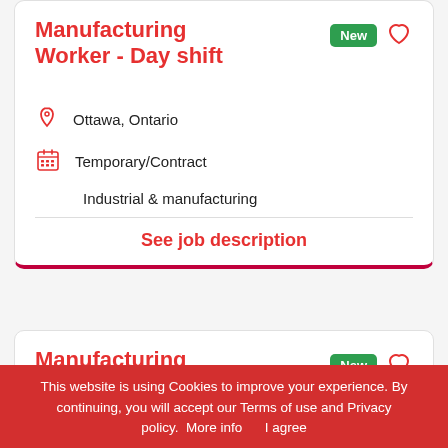Manufacturing Worker - Day shift
Ottawa, Ontario
Temporary/Contract
Industrial & manufacturing
See job description
Manufacturing
This website is using Cookies to improve your experience. By continuing, you will accept our Terms of use and Privacy policy.  More info     I agree